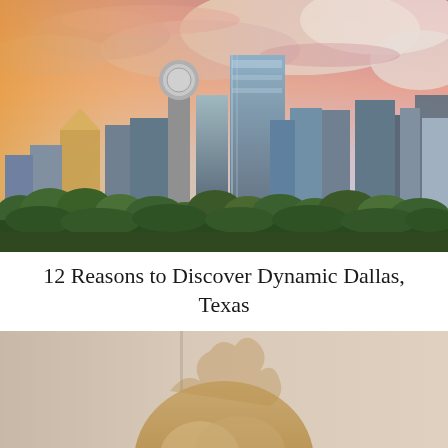[Figure (photo): Dallas, Texas skyline at sunset with dramatic pink and purple clouds, the Reunion Tower dome visible, tall glass skyscrapers, and green trees in the foreground]
12 Reasons to Discover Dynamic Dallas, Texas
[Figure (photo): Partial portrait photo of a person with blonde/light brown hair, cropped to show only the top of the head]